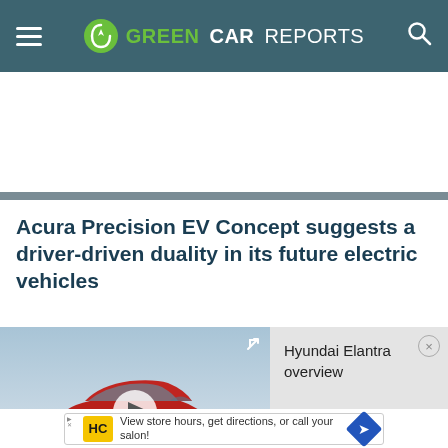GREEN CAR REPORTS
Acura Precision EV Concept suggests a driver-driven duality in its future electric vehicles
[Figure (screenshot): Video thumbnail showing a red Hyundai Elantra sedan driving on a road with a play button overlay and expand icon. Caption reads 'Hyundai Elantra'.]
Hyundai Elantra overview
[Figure (infographic): Advertisement banner: View store hours, get directions, or call your salon! with HC logo and navigation arrow icon.]